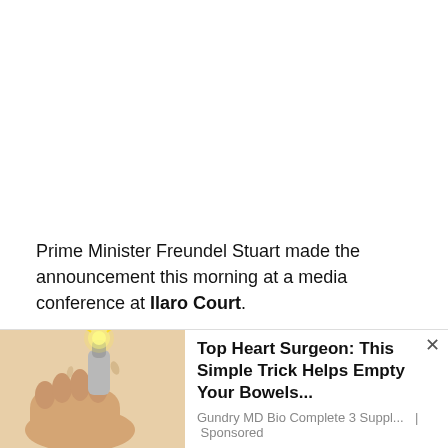Prime Minister Freundel Stuart made the announcement this morning at a media conference at Ilaro Court.
While select activities will continue in October, the number of major events will increase significantly in November.
On November 1, the annual Independence Lighting Ceremony will take place in Heroes Square. The City...
[Figure (illustration): Advertisement illustration showing a hand holding a bottle or brush, with a light bulb or orb effect. Part of a bowel health supplement ad.]
Top Heart Surgeon: This Simple Trick Helps Empty Your Bowels...
Gundry MD Bio Complete 3 Suppl...  |  Sponsored